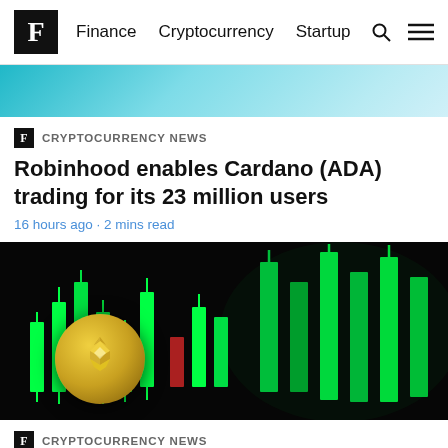F Finance Cryptocurrency Startup
[Figure (photo): Partial view of a crypto-related image with blue/teal tones at the top of the page]
F CRYPTOCURRENCY NEWS
Robinhood enables Cardano (ADA) trading for its 23 million users
16 hours ago · 2 mins read
[Figure (photo): Dark background with green glowing candlestick chart and a gold Binance Coin (BNB) in the foreground]
F CRYPTOCURRENCY NEWS
Crypto community makes bullish Binance Coin (BNB) prediction for the end of September